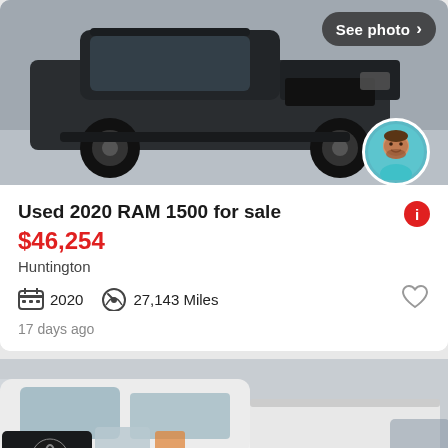[Figure (photo): Dark/black RAM 1500 pickup truck, front angle view, with a See photo button top right and a person avatar bottom right]
Used 2020 RAM 1500 for sale
$46,254
Huntington
2020   27,143 Miles
17 days ago
[Figure (photo): White Toyota Tundra pickup truck, front view, with a See photo button bottom right]